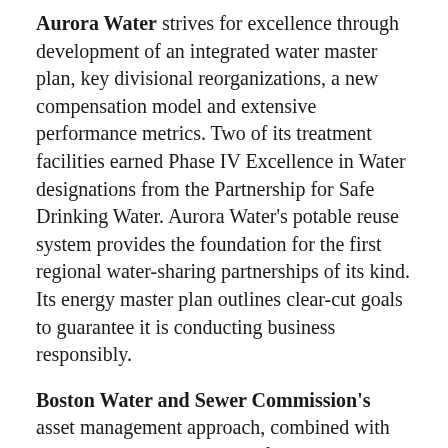Aurora Water strives for excellence through development of an integrated water master plan, key divisional reorganizations, a new compensation model and extensive performance metrics. Two of its treatment facilities earned Phase IV Excellence in Water designations from the Partnership for Safe Drinking Water. Aurora Water's potable reuse system provides the foundation for the first regional water-sharing partnerships of its kind. Its energy master plan outlines clear-cut goals to guarantee it is conducting business responsibly.
Boston Water and Sewer Commission's asset management approach, combined with an active leak detection and flushing program, dramatically reduced water pipe failures and produced a drop in unbilled water from 48 percent to 14 percent. Installation of automatic meter readers increased customer satisfaction and allowed for billing based on actual